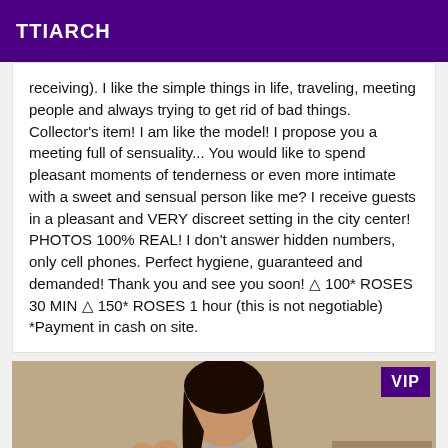TTIARCH
receiving). I like the simple things in life, traveling, meeting people and always trying to get rid of bad things. Collector's item! I am like the model! I propose you a meeting full of sensuality... You would like to spend pleasant moments of tenderness or even more intimate with a sweet and sensual person like me? I receive guests in a pleasant and VERY discreet setting in the city center! PHOTOS 100% REAL! I don't answer hidden numbers, only cell phones. Perfect hygiene, guaranteed and demanded! Thank you and see you soon! ⚠ 100* ROSES 30 MIN ⚠ 150* ROSES 1 hour (this is not negotiable) *Payment in cash on site.
[Figure (photo): Photo of a woman with dark hair wearing a grey sleeveless top, with a VIP badge overlay in the top right corner]